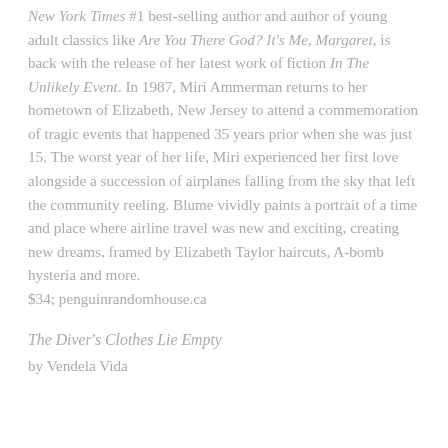New York Times #1 best-selling author and author of young adult classics like Are You There God? It's Me, Margaret, is back with the release of her latest work of fiction In The Unlikely Event. In 1987, Miri Ammerman returns to her hometown of Elizabeth, New Jersey to attend a commemoration of tragic events that happened 35 years prior when she was just 15. The worst year of her life, Miri experienced her first love alongside a succession of airplanes falling from the sky that left the community reeling. Blume vividly paints a portrait of a time and place where airline travel was new and exciting, creating new dreams, framed by Elizabeth Taylor haircuts, A-bomb hysteria and more. $34; penguinrandomhouse.ca
The Diver's Clothes Lie Empty
by Vendela Vida